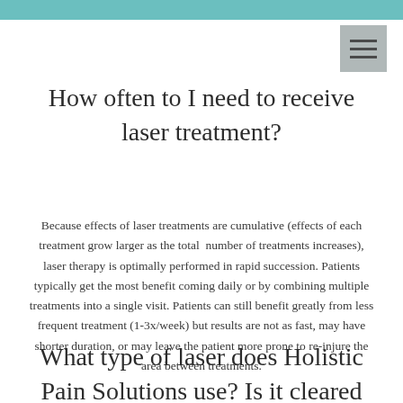How often to I need to receive laser treatment?
Because effects of laser treatments are cumulative (effects of each treatment grow larger as the total number of treatments increases), laser therapy is optimally performed in rapid succession. Patients typically get the most benefit coming daily or by combining multiple treatments into a single visit. Patients can still benefit greatly from less frequent treatment (1-3x/week) but results are not as fast, may have shorter duration, or may leave the patient more prone to re-injure the area between treatments.
What type of laser does Holistic Pain Solutions use? Is it cleared by